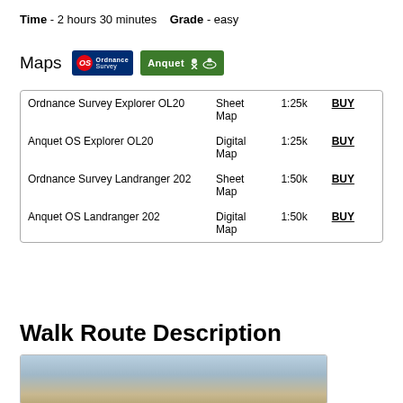Time - 2 hours 30 minutes   Grade - easy
Maps [Ordnance Survey logo] [Anquet logo]
| Map Name | Type | Scale |  |
| --- | --- | --- | --- |
| Ordnance Survey Explorer OL20 | Sheet Map | 1:25k | BUY |
| Anquet OS Explorer OL20 | Digital Map | 1:25k | BUY |
| Ordnance Survey Landranger 202 | Sheet Map | 1:50k | BUY |
| Anquet OS Landranger 202 | Digital Map | 1:50k | BUY |
Walk Route Description
[Figure (photo): Landscape photo showing a mountain or hillside scene with blue sky]